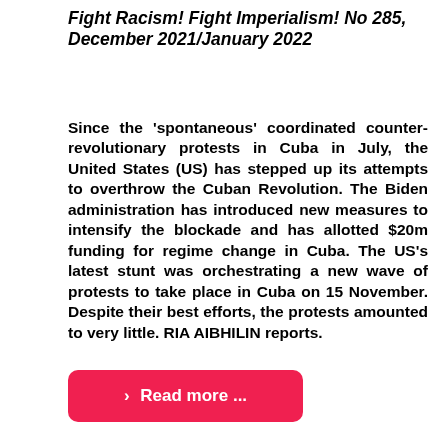Fight Racism! Fight Imperialism! No 285, December 2021/January 2022
Since the 'spontaneous' coordinated counter-revolutionary protests in Cuba in July, the United States (US) has stepped up its attempts to overthrow the Cuban Revolution. The Biden administration has introduced new measures to intensify the blockade and has allotted $20m funding for regime change in Cuba. The US's latest stunt was orchestrating a new wave of protests to take place in Cuba on 15 November. Despite their best efforts, the protests amounted to very little. RIA AIBHILIN reports.
Read more ...